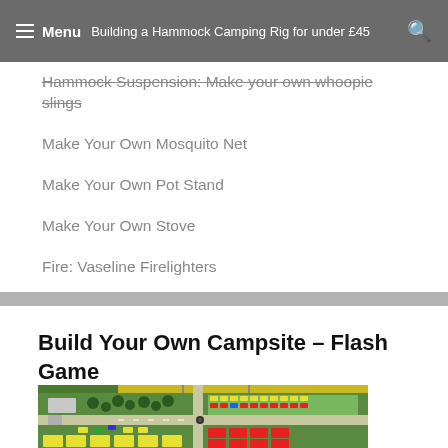Menu | Building a Hammock Camping Rig for under £45
Hammock Suspension: Make your own whoopie slings
Make Your Own Mosquito Net
Make Your Own Pot Stand
Make Your Own Stove
Fire: Vaseline Firelighters
Build Your Own Campsite – Flash Game
[Figure (screenshot): Screenshot of a top-down campsite flash game showing a green grassy area with roads, trees, tents, cars, and campsite facilities laid out in a grid-like pattern.]